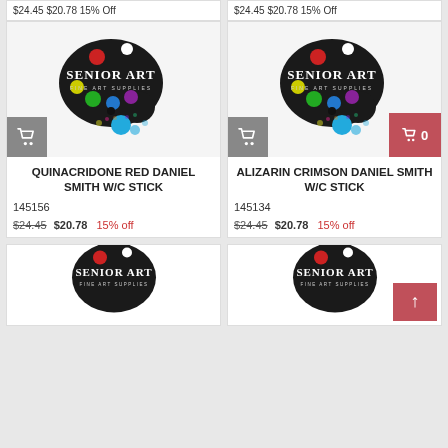$24.45  $20.78  15% Off
$24.45  $20.78  15% Off
[Figure (logo): Senior Art Fine Art Supplies palette logo with colorful paint dots]
QUINACRIDONE RED DANIEL SMITH W/C STICK
145156
$24.45  $20.78  15% off
[Figure (logo): Senior Art Fine Art Supplies palette logo with colorful paint dots, with cart overlay showing 0]
ALIZARIN CRIMSON DANIEL SMITH W/C STICK
145134
$24.45  $20.78  15% off
[Figure (logo): Senior Art Fine Art Supplies palette logo partial view at bottom of page]
[Figure (logo): Senior Art Fine Art Supplies palette logo partial view at bottom of page with scroll-to-top button]